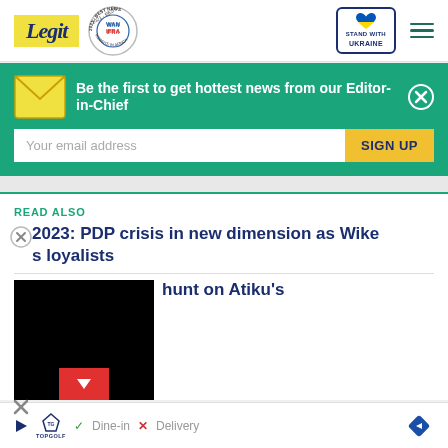Legit — WAN-IFRA 2021 Best News Website in Africa — Stand with Ukraine
Be the first to get hottest news from our Editor-in-Chief
Your email address
SIGN UP
READ ALSO
2023: PDP crisis in new dimension as Wike loyalists
hunt on Atiku's
TopGolf — Dine-in — Delivery